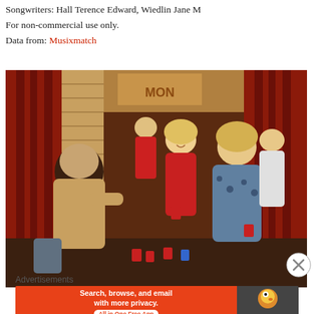Songwriters: Hall Terence Edward, Wiedlin Jane M
For non-commercial use only.
Data from: Musixmatch
[Figure (photo): A scene from a TV show or movie showing people at an indoor party. Several characters are visible including a woman in a beige/tan outfit on the left, a blonde woman in a red outfit in the middle smiling, and a blonde woman in a blue/black floral top on the right holding a red cup. The room has red curtains and warm lighting.]
Advertisements
[Figure (infographic): DuckDuckGo advertisement banner: orange left section reads 'Search, browse, and email with more privacy. All in One Free App', right dark section shows DuckDuckGo duck logo and brand name.]